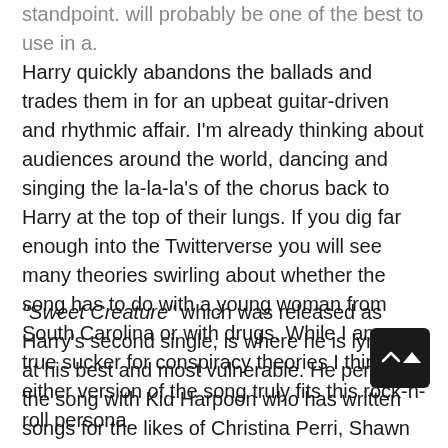standpoint. will probably be one of the best to use in a. Harry quickly abandons the ballads and trades them in for an upbeat guitar-driven and rhythmic affair. I'm already thinking about audiences around the world, dancing and singing the la-la-la's of the chorus back to Harry at the top of their lungs. If you dig far enough into the Twitterverse you will see many theories swirling about whether the song has to do with a young woman from South Carolina or with drugs. While I am a true sucker for conspiracy theories I think either version of the song truly fits this rock-n-roll persona.
“Sweet Creature” which was released as Harry’s second single, is where he is lyrically at his best and most vulnerable. He penned the song with Kid Harpoon who has written songs for the likes of Christina Perri, Shawn Mendes and Florence + the Machine (just to name a few). It